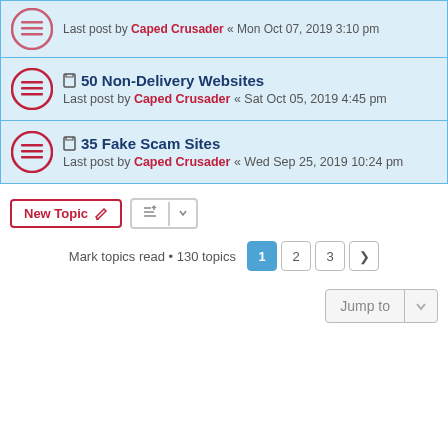Last post by Caped Crusader « Mon Oct 07, 2019 3:10 pm
50 Non-Delivery Websites
Last post by Caped Crusader « Sat Oct 05, 2019 4:45 pm
35 Fake Scam Sites
Last post by Caped Crusader « Wed Sep 25, 2019 10:24 pm
New Topic
Mark topics read • 130 topics  1  2  3  >
Jump to